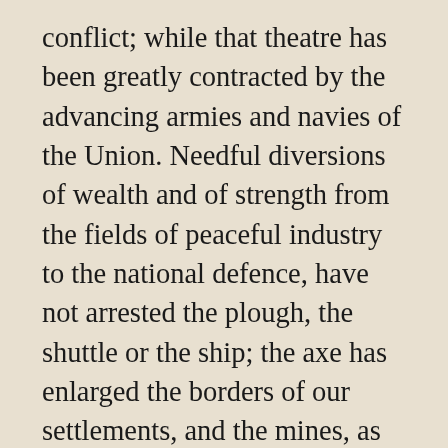conflict; while that theatre has been greatly contracted by the advancing armies and navies of the Union. Needful diversions of wealth and of strength from the fields of peaceful industry to the national defence, have not arrested the plough, the shuttle or the ship; the axe has enlarged the borders of our settlements, and the mines, as well of iron and coal as of the precious metals, have yielded even more abundantly than heretofore. Population has steadily increased, notwithstanding the waste that has been made in the camp, the siege and the battle-field; and the country, rejoicing in the consiousness of augmented strength and vigor, is